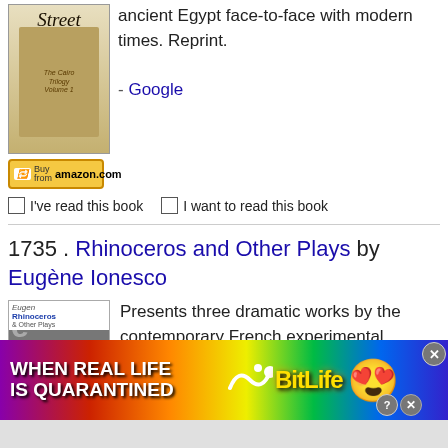ancient Egypt face-to-face with modern times. Reprint.
- Google
[Figure (screenshot): Buy from amazon.com button]
I've read this book   I want to read this book
1735 . Rhinoceros and Other Plays by Eugène Ionesco
[Figure (photo): Book cover for Rhinoceros and Other Plays by Eugene Ionesco, black and white photo of a man]
Presents three dramatic works by the contemporary French experimental playwright: The Leader, The Future Is in Eggs or It Takes all Sorts to
[Figure (screenshot): BitLife advertisement banner - When Real Life Is Quarantined]